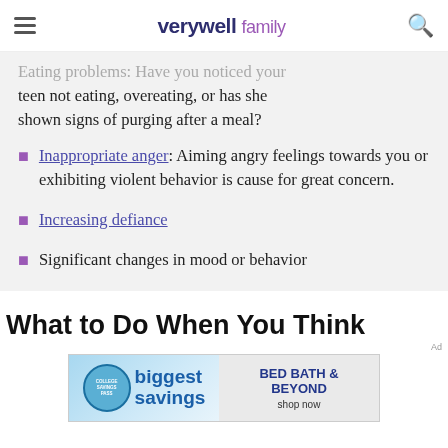verywell family
Eating problems: Have you noticed your teen not eating, overeating, or has she shown signs of purging after a meal?
Inappropriate anger: Aiming angry feelings towards you or exhibiting violent behavior is cause for great concern.
Increasing defiance
Significant changes in mood or behavior
What to Do When You Think
[Figure (other): Advertisement banner for Bed Bath & Beyond featuring College Savings Pass with 'biggest savings' text and 'shop now' call to action]